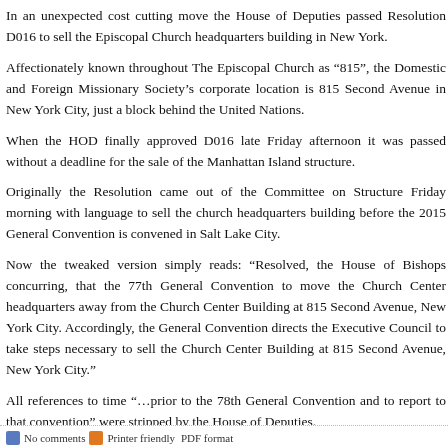In an unexpected cost cutting move the House of Deputies passed Resolution D016 to sell the Episcopal Church headquarters building in New York.
Affectionately known throughout The Episcopal Church as “815”, the Domestic and Foreign Missionary Society’s corporate location is 815 Second Avenue in New York City, just a block behind the United Nations.
When the HOD finally approved D016 late Friday afternoon it was passed without a deadline for the sale of the Manhattan Island structure.
Originally the Resolution came out of the Committee on Structure Friday morning with language to sell the church headquarters building before the 2015 General Convention is convened in Salt Lake City.
Now the tweaked version simply reads: “Resolved, the House of Bishops concurring, that the 77th General Convention to move the Church Center headquarters away from the Church Center Building at 815 Second Avenue, New York City. Accordingly, the General Convention directs the Executive Council to take steps necessary to sell the Church Center Building at 815 Second Avenue, New York City.”
All references to time “…prior to the 78th General Convention and to report to that convention” were stripped by the House of Deputies.
The next stop for D016 is the House of Bishops. The bishops have several options. They can accept D016 as presented to them, or put the teeth back into D016 by reinserting a timeframe, or scrap the whole resolution and go back to the drawing board.
TEC financial figures show that it costs more than $11 million a year to be backyard neighbors with the UN.
Mary Ann Mueller is a journalist living in Texas. She is a regular contributor to Virtueonline.